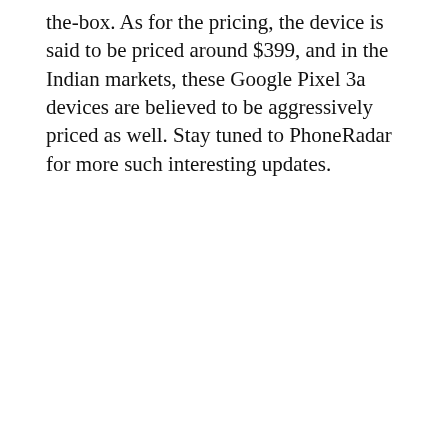the-box. As for the pricing, the device is said to be priced around $399, and in the Indian markets, these Google Pixel 3a devices are believed to be aggressively priced as well. Stay tuned to PhoneRadar for more such interesting updates.
Source
RELATED TOPICS:
UP NEXT
LG V50 ThinQ 5G Smartphone Launch Date Confirmed
DON'T MISS
Samsung Galaxy A70 Goes on Sale in India for First Time Today
ADVERTISEMENT
[Figure (photo): Advertisement image showing a dark background with a circular logo or icon on the left side]